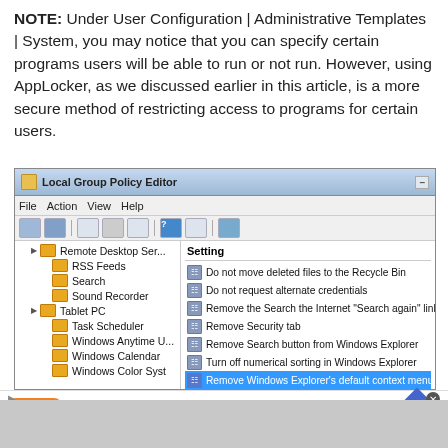NOTE: Under User Configuration | Administrative Templates | System, you may notice that you can specify certain programs users will be able to run or not run. However, using AppLocker, as we discussed earlier in this article, is a more secure method of restricting access to programs for certain users.
[Figure (screenshot): Local Group Policy Editor window showing a tree view with folders (Remote Desktop Services, RSS Feeds, Search, Sound Recorder, Tablet PC, Task Scheduler, Windows Anytime Upgrade, Windows Calendar, Windows Color System) and a settings panel listing: Do not move deleted files to the Recycle Bin, Do not request alternate credentials, Remove the Search the Internet 'Search again' link, Remove Security tab, Remove Search button from Windows Explorer, Turn off numerical sorting in Windows Explorer, Remove Windows Explorer's default context menu]
School Snacks They'll Love
Wegmans